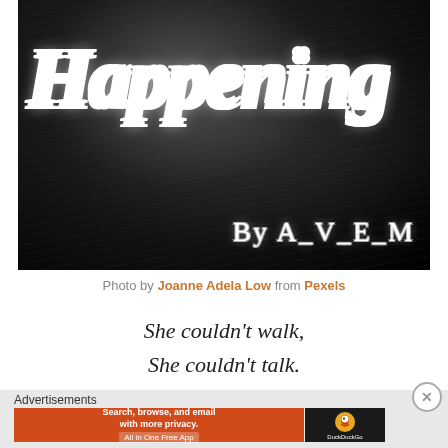[Figure (photo): Dark moody black and white cover image with the word 'Happening' in large white cursive/italic script with white outline, and 'By A_V_E_M' in cursive text at the bottom right, over a dark background with subtle hair/smoke-like textures]
Photo by Joanne Adela Low from Pexels
She couldn't walk,
She couldn't talk.
Advertisements
[Figure (screenshot): DuckDuckGo advertisement banner: orange background with text 'Search, browse, and email with more privacy. All in One Free App' and DuckDuckGo logo on dark background]